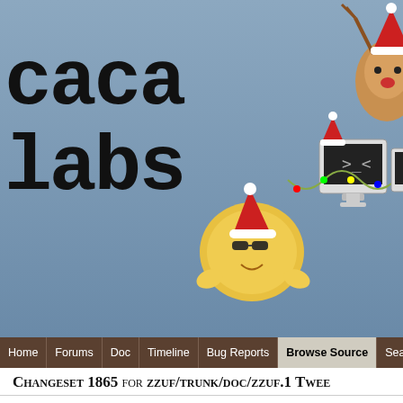[Figure (screenshot): Caca Labs website banner with cartoon characters wearing Christmas hats on a blue-grey background, showing partial text 'caca labs']
Home | Forums | Doc | Timeline | Bug Reports | Browse Source | Search
Changeset 1865 for zzuf/trunk/doc/zzuf.1 Twee...
Timestamp: Nov 3, 2007, 1:14:40 AM (15 years ago)
Author: Sam Hocevar
Message: Documentation updates.
File: 1 edited
zzuf/trunk/doc/zzuf.1 (8 diffs)
View differences inline
Show 2 lines around each change
Show the changes in
Ignore:
Blank lines
Case changes
White space cha...